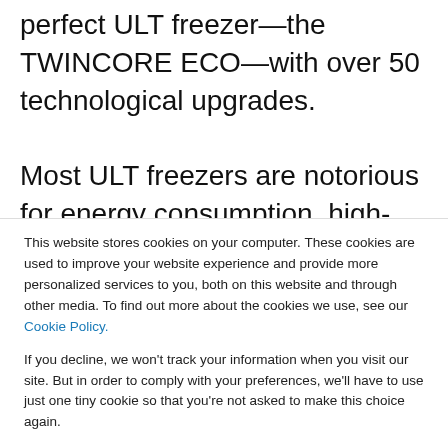perfect ULT freezer—the TWINCORE ECO—with over 50 technological upgrades.

Most ULT freezers are notorious for energy consumption, high-energy bills, and large carbon footprint—and this is what sets the Twincore Eco Technology ULT freezer apart from the...
This website stores cookies on your computer. These cookies are used to improve your website experience and provide more personalized services to you, both on this website and through other media. To find out more about the cookies we use, see our Cookie Policy.
If you decline, we won't track your information when you visit our site. But in order to comply with your preferences, we'll have to use just one tiny cookie so that you're not asked to make this choice again.
Accept | Decline